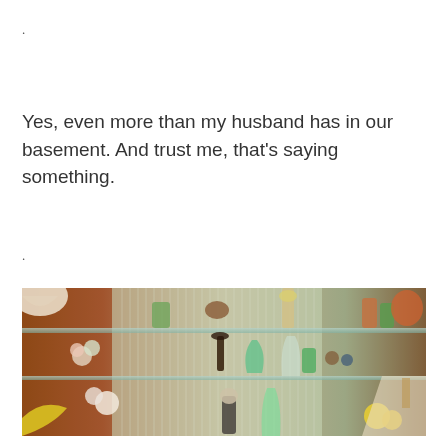.
Yes, even more than my husband has in our basement. And trust me, that's saying something.
.
[Figure (photo): A cluttered antique or collectibles shop interior with glass shelves holding numerous items including glassware, figurines, lamps, ceramic animals, vases, and various decorative objects. The shop is densely packed with colorful vintage items.]